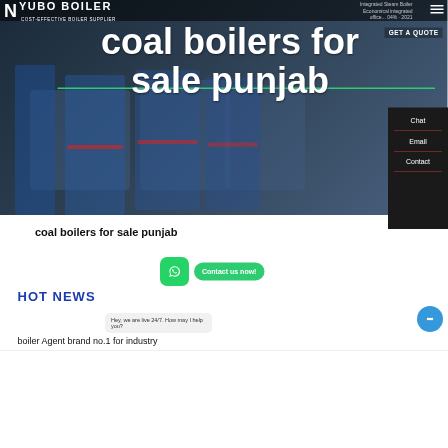[Figure (screenshot): Website screenshot of YUBO BOILER — Cost-Effective Boiler Supplier. Dark hero banner showing coal boilers with large white text 'coal boilers for sale punjab'. Navigation bar at top with logo and menu icon. Right side dark panel with Chat, Email, Contact options. Below hero: page heading 'coal boilers for sale punjab', WhatsApp button, 'Contact us now!' green button, 'HOT NEWS' section header in blue, chat widget bubble 'Hey, we are live 24/7. How may I help you?', and text 'boiler Agent brand no 1 for industry'.]